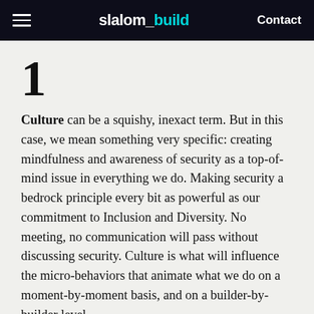slalom_build  Contact
1
Culture can be a squishy, inexact term. But in this case, we mean something very specific: creating mindfulness and awareness of security as a top-of-mind issue in everything we do. Making security a bedrock principle every bit as powerful as our commitment to Inclusion and Diversity. No meeting, no communication will pass without discussing security. Culture is what will influence the micro-behaviors that animate what we do on a moment-by-moment basis, and on a builder-by-builder level.
2